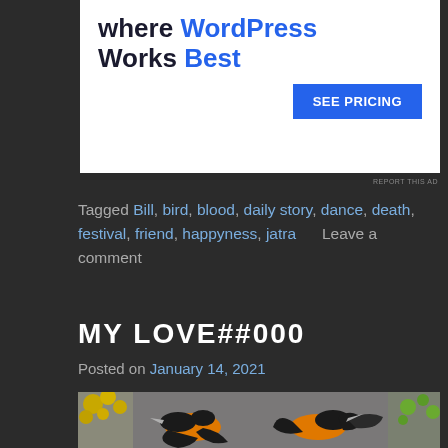[Figure (other): WordPress advertisement banner with text 'where WordPress Works Best' and a blue 'SEE PRICING' button on white background]
REPORT THIS AD
Tagged Bill, bird, blood, daily story, dance, death, festival, friend, happyness, jatra      Leave a comment
MY LOVE##000
Posted on January 14, 2021
[Figure (photo): Two black and orange birds (orioles) with wings spread, photographed against a grey background with yellow flowers on the left and green branch on the right]